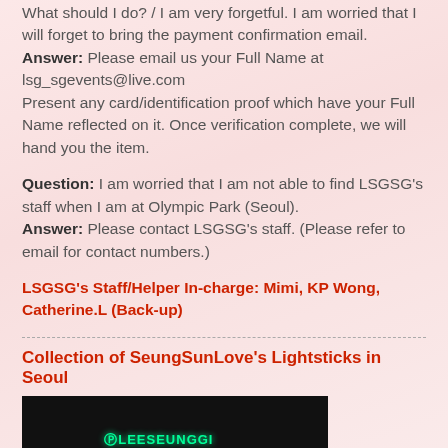What should I do? / I am very forgetful. I am worried that I will forget to bring the payment confirmation email. Answer: Please email us your Full Name at lsg_sgevents@live.com Present any card/identification proof which have your Full Name reflected on it. Once verification complete, we will hand you the item.
Question: I am worried that I am not able to find LSGSG's staff when I am at Olympic Park (Seoul). Answer: Please contact LSGSG's staff. (Please refer to email for contact numbers.)
LSGSG's Staff/Helper In-charge: Mimi, KP Wong, Catherine.L (Back-up)
Collection of SeungSunLove's Lightsticks in Seoul
[Figure (photo): Photo of a lightstick with green LED text reading LEESEUNGGI on a dark background]